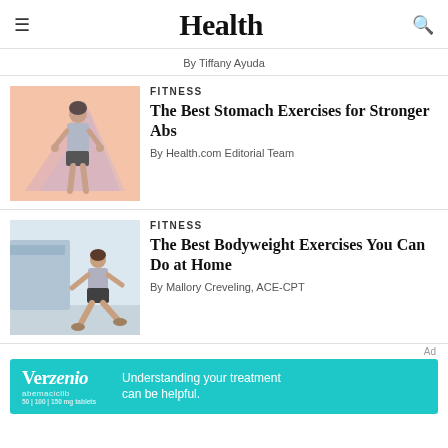Health
By Tiffany Ayuda
FITNESS
The Best Stomach Exercises for Stronger Abs
By Health.com Editorial Team
FITNESS
The Best Bodyweight Exercises You Can Do at Home
By Mallory Creveling, ACE-CPT
[Figure (infographic): Advertisement banner for Verzenio (abemaciclib) with teal background. Text: 'Understanding your treatment can be helpful.']